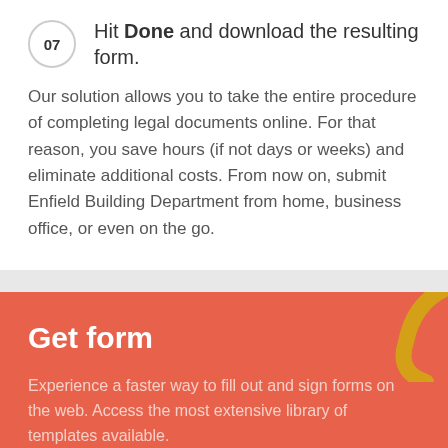07  Hit Done and download the resulting form.
Our solution allows you to take the entire procedure of completing legal documents online. For that reason, you save hours (if not days or weeks) and eliminate additional costs. From now on, submit Enfield Building Department from home, business office, or even on the go.
Get form
Experience a faster way to fill out and sign forms on the web. Access the most extensive library of templates available.
Get Form